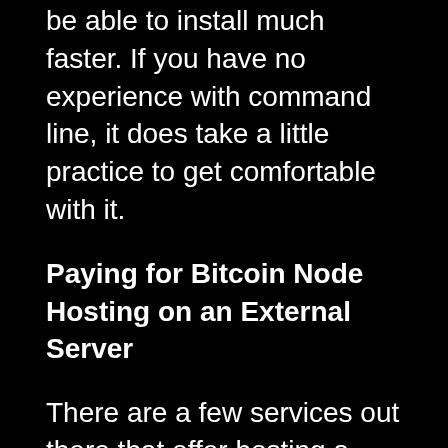be able to install much faster. If you have no experience with command line, it does take a little practice to get comfortable with it.
Paying for Bitcoin Node Hosting on an External Server
There are a few services out there that offer hosting a Bitcoin Node stack for you. You would not have physical control of the computer, these services have the computers at their facility. Because of that you would not have to deal with maintaining the machines.
Baseline prices for running Bitcoin